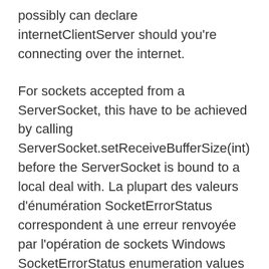possibly can declare internetClientServer should you're connecting over the internet.
For sockets accepted from a ServerSocket, this have to be achieved by calling ServerSocket.setReceiveBufferSize(int) before the ServerSocket is bound to a local deal with. La plupart des valeurs d'énumération SocketErrorStatus correspondent à une erreur renvoyée par l'opération de sockets Windows SocketErrorStatus enumeration values correspond to an error returned by the native Home windows sockets operation. At the backside, the client and server shut() their respective sockets. Construisez un autre DatagramSocket qui jouera le rôle du shopper d'écho, insérez-le dans un numéro de port spécifique, envoyez un message UDP et recevez une réponse.Construct one other DatagramSocket to play the function of the echo client, bind it to a specific port